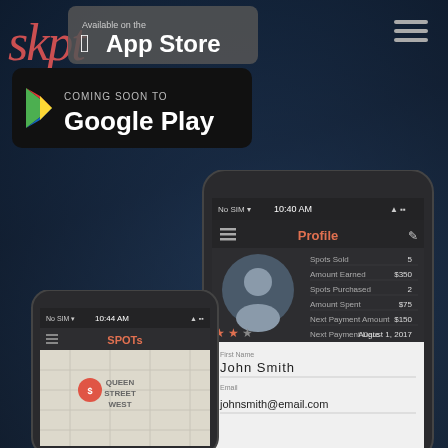[Figure (logo): Skpt app script logo in red/salmon color, top left]
[Figure (screenshot): Available on the App Store badge, dark rounded rectangle with Apple logo]
[Figure (screenshot): Coming Soon to Google Play badge, black rounded rectangle with Google Play triangle logo]
[Figure (screenshot): Hamburger menu icon (three lines) top right]
[Figure (screenshot): iPhone showing Profile screen with user John Smith, stats: Spots Sold 5, Amount Earned $350, Spots Purchased 2, Amount Spent $75, Next Payment Amount $150, Next Payment Date August 1, 2017]
[Figure (screenshot): iPhone showing SPOTs map screen with Queen Street West location marker]